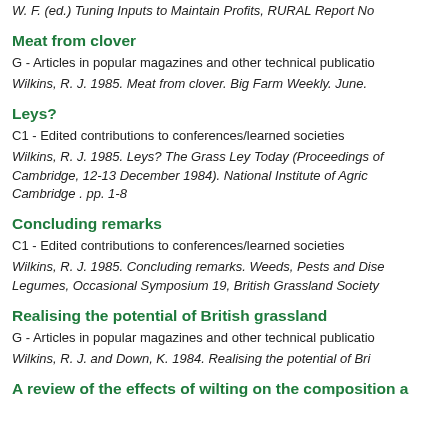W. F. (ed.) Tuning Inputs to Maintain Profits, RURAL Report No
Meat from clover
G - Articles in popular magazines and other technical publicatio
Wilkins, R. J. 1985. Meat from clover. Big Farm Weekly. June.
Leys?
C1 - Edited contributions to conferences/learned societies
Wilkins, R. J. 1985. Leys? The Grass Ley Today (Proceedings of Cambridge, 12-13 December 1984). National Institute of Agric Cambridge . pp. 1-8
Concluding remarks
C1 - Edited contributions to conferences/learned societies
Wilkins, R. J. 1985. Concluding remarks. Weeds, Pests and Dise Legumes, Occasional Symposium 19, British Grassland Society
Realising the potential of British grassland
G - Articles in popular magazines and other technical publicatio
Wilkins, R. J. and Down, K. 1984. Realising the potential of Bri
A review of the effects of wilting on the composition a